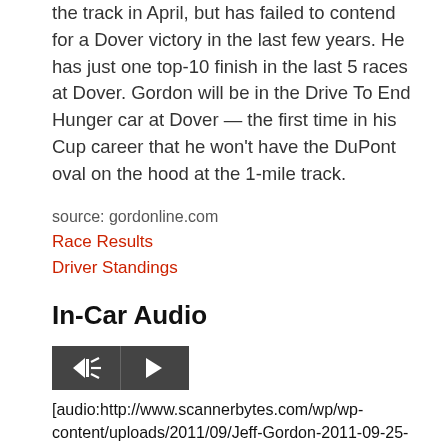the track in April, but has failed to contend for a Dover victory in the last few years. He has just one top-10 finish in the last 5 races at Dover. Gordon will be in the Drive To End Hunger car at Dover — the first time in his Cup career that he won't have the DuPont oval on the hood at the 1-mile track.
source: gordonline.com
Race Results
Driver Standings
In-Car Audio
[Figure (other): Audio player widget with two buttons: a speaker/back button and a forward/play button, both on dark gray background]
[audio:http://www.scannerbytes.com/wp/wp-content/uploads/2011/09/Jeff-Gordon-2011-09-25-Sylvania-300-New-